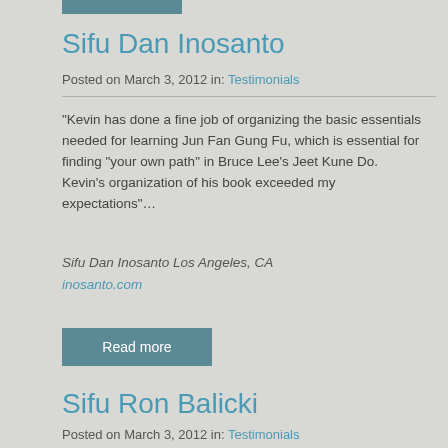[Figure (other): Teal/grey button or label bar at top]
Sifu Dan Inosanto
Posted on March 3, 2012 in: Testimonials
“Kevin has done a fine job of organizing the basic essentials needed for learning Jun Fan Gung Fu, which is essential for finding “your own path” in Bruce Lee’s Jeet Kune Do. Kevin’s organization of his book exceeded my expectations”…
Sifu Dan Inosanto
Los Angeles, CA
inosanto.com
Read more
Sifu Ron Balicki
Posted on March 3, 2012 in: Testimonials